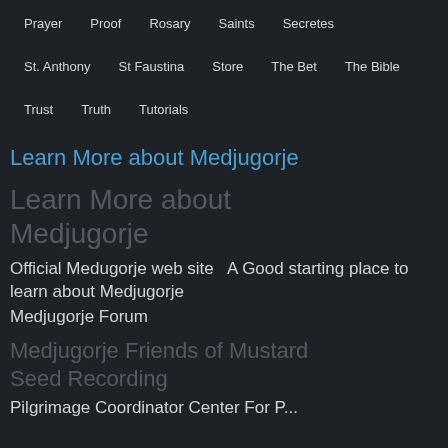Prayer  Proof  Rosary  Saints  Secretes
St. Anthony  St Faustina  Store  The Bet  The Bible
Trust  Truth  Tutorials
Learn More about Medjugorje
Learn More about Medjugorje
Official Medugorje web site   A Good starting place to learn about Medjugorje
Medjugorje Forum
Medjugorje Friends of Mustard Seed Recording
Pilgrimage Coordinator Center For P...